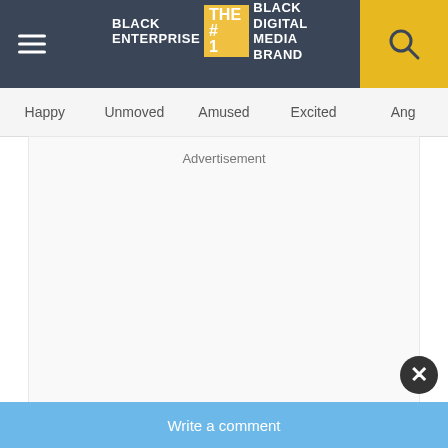BLACK ENTERPRISE THE #1 BLACK DIGITAL MEDIA BRAND
Happy    Unmoved    Amused    Excited    Ang
Advertisement
Write a comment